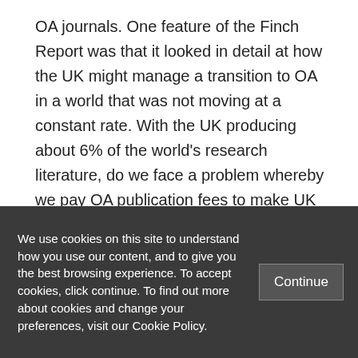OA journals. One feature of the Finch Report was that it looked in detail at how the UK might manage a transition to OA in a world that was not moving at a constant rate. With the UK producing about 6% of the world's research literature, do we face a problem whereby we pay OA publication fees to make UK research available to all while still having to pay subscription fees to gain access to the
We use cookies on this site to understand how you use our content, and to give you the best browsing experience. To accept cookies, click continue. To find out more about cookies and change your preferences, visit our Cookie Policy.